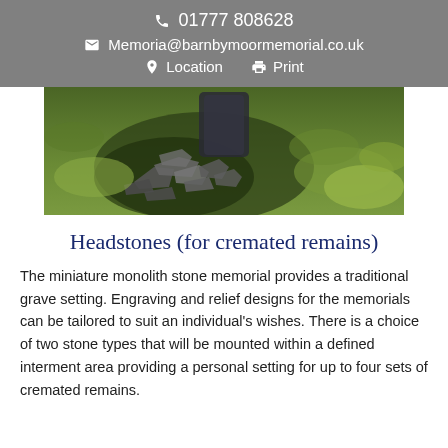📞 01777 808628
✉ Memoria@barnbymoormemorial.co.uk
📍 Location  🖨 Print
[Figure (photo): Close-up photograph of a stone memorial surrounded by rocks and grass in a cemetery setting]
Headstones (for cremated remains)
The miniature monolith stone memorial provides a traditional grave setting. Engraving and relief designs for the memorials can be tailored to suit an individual's wishes. There is a choice of two stone types that will be mounted within a defined interment area providing a personal setting for up to four sets of cremated remains.